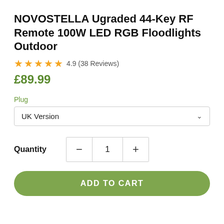NOVOSTELLA Ugraded 44-Key RF Remote 100W LED RGB Floodlights Outdoor
4.9 (38 Reviews)
£89.99
Plug
UK Version
Quantity 1
ADD TO CART